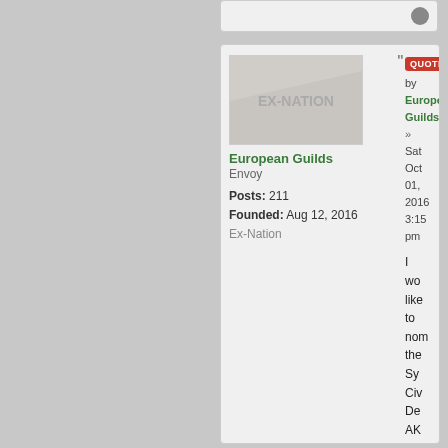[Figure (screenshot): Forum post card showing user 'European Guilds' with Ex-Nation avatar, user details, and post content beginning with 'I wo like to nom the Sy Civ De AK the Wh He are']
European Guilds
Envoy
Posts: 211
Founded: Aug 12, 2016
Ex-Nation
QUOTE
by European Guilds
» Sat Oct 01, 2016 3:15 pm
I wo like to nom the Sy Civ De AK the Wh He are